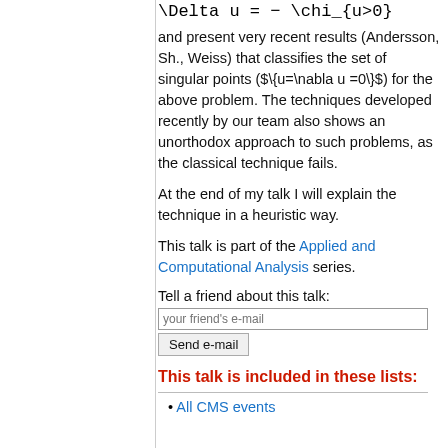and present very recent results (Andersson, Sh., Weiss) that classifies the set of singular points ($\{u=\nabla u =0\}$) for the above problem. The techniques developed recently by our team also shows an unorthodox approach to such problems, as the classical technique fails.
At the end of my talk I will explain the technique in a heuristic way.
This talk is part of the Applied and Computational Analysis series.
Tell a friend about this talk:
This talk is included in these lists:
All CMS events